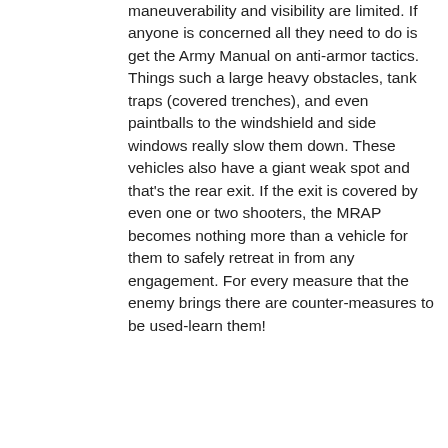maneuverability and visibility are limited. If anyone is concerned all they need to do is get the Army Manual on anti-armor tactics. Things such a large heavy obstacles, tank traps (covered trenches), and even paintballs to the windshield and side windows really slow them down. These vehicles also have a giant weak spot and that's the rear exit. If the exit is covered by even one or two shooters, the MRAP becomes nothing more than a vehicle for them to safely retreat in from any engagement. For every measure that the enemy brings there are counter-measures to be used-learn them!